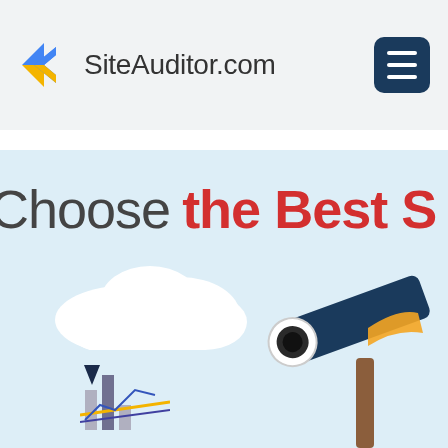SiteAuditor.com
[Figure (illustration): SiteAuditor.com website screenshot showing a navigation header with a colorful arrow logo and hamburger menu button, and below it a partial hero section with light blue background showing the text 'Choose the Best S[EO Tool]' with black and red text, illustrated with a telescope on a stand and white clouds, and a partial chart/graph element at the lower left.]